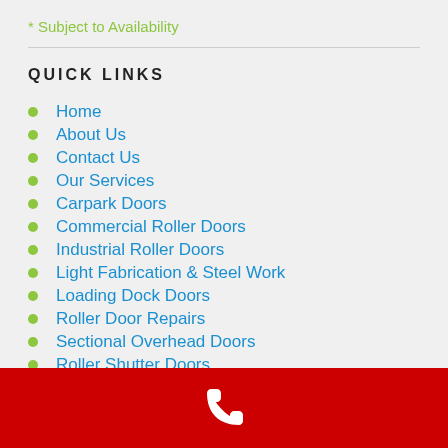* Subject to Availability
QUICK LINKS
Home
About Us
Contact Us
Our Services
Carpark Doors
Commercial Roller Doors
Industrial Roller Doors
Light Fabrication & Steel Work
Loading Dock Doors
Roller Door Repairs
Sectional Overhead Doors
Roller Shutter Doors
[Figure (illustration): Red footer bar with white phone icon]